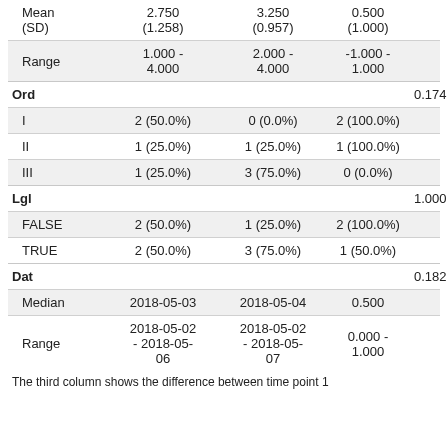|  | Col1 | Col2 | Col3 | p |
| --- | --- | --- | --- | --- |
| Mean (SD) | 2.750 (1.258) | 3.250 (0.957) | 0.500 (1.000) |  |
| Range | 1.000 - 4.000 | 2.000 - 4.000 | -1.000 - 1.000 |  |
| Ord |  |  |  | 0.174 |
| I | 2 (50.0%) | 0 (0.0%) | 2 (100.0%) |  |
| II | 1 (25.0%) | 1 (25.0%) | 1 (100.0%) |  |
| III | 1 (25.0%) | 3 (75.0%) | 0 (0.0%) |  |
| Lgl |  |  |  | 1.000 |
| FALSE | 2 (50.0%) | 1 (25.0%) | 2 (100.0%) |  |
| TRUE | 2 (50.0%) | 3 (75.0%) | 1 (50.0%) |  |
| Dat |  |  |  | 0.182 |
| Median | 2018-05-03 | 2018-05-04 | 0.500 |  |
| Range | 2018-05-02 - 2018-05-06 | 2018-05-02 - 2018-05-07 | 0.000 - 1.000 |  |
The third column shows the difference between time point 1